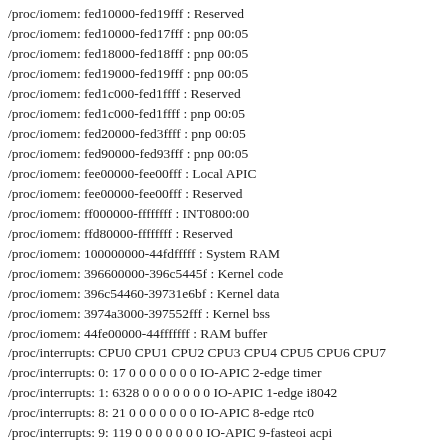/proc/iomem: fed10000-fed19fff : Reserved
/proc/iomem: fed10000-fed17fff : pnp 00:05
/proc/iomem: fed18000-fed18fff : pnp 00:05
/proc/iomem: fed19000-fed19fff : pnp 00:05
/proc/iomem: fed1c000-fed1ffff : Reserved
/proc/iomem: fed1c000-fed1ffff : pnp 00:05
/proc/iomem: fed20000-fed3ffff : pnp 00:05
/proc/iomem: fed90000-fed93fff : pnp 00:05
/proc/iomem: fee00000-fee00fff : Local APIC
/proc/iomem: fee00000-fee00fff : Reserved
/proc/iomem: ff000000-ffffffff : INT0800:00
/proc/iomem: ffd80000-ffffffff : Reserved
/proc/iomem: 100000000-44fdfffff : System RAM
/proc/iomem: 396600000-396c5445f : Kernel code
/proc/iomem: 396c54460-39731e6bf : Kernel data
/proc/iomem: 3974a3000-397552fff : Kernel bss
/proc/iomem: 44fe00000-44fffffff : RAM buffer
/proc/interrupts: CPU0 CPU1 CPU2 CPU3 CPU4 CPU5 CPU6 CPU7
/proc/interrupts: 0: 17 0 0 0 0 0 0 0 IO-APIC 2-edge timer
/proc/interrupts: 1: 6328 0 0 0 0 0 0 0 IO-APIC 1-edge i8042
/proc/interrupts: 8: 21 0 0 0 0 0 0 0 IO-APIC 8-edge rtc0
/proc/interrupts: 9: 119 0 0 0 0 0 0 0 IO-APIC 9-fasteoi acpi
/proc/interrupts: 12: 3 0 0 0 0 0 0 0 IO-APIC 12-edge i8042